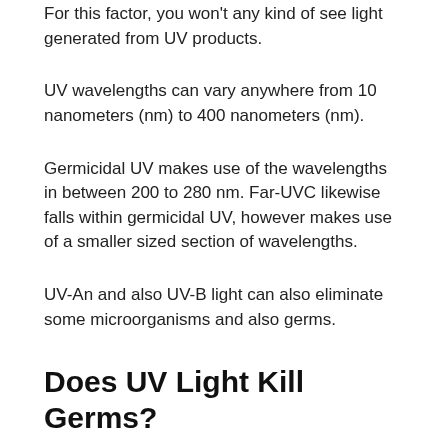For this factor, you won't any kind of see light generated from UV products.
UV wavelengths can vary anywhere from 10 nanometers (nm) to 400 nanometers (nm).
Germicidal UV makes use of the wavelengths in between 200 to 280 nm. Far-UVC likewise falls within germicidal UV, however makes use of a smaller sized section of wavelengths.
UV-An and also UV-B light can also eliminate some microorganisms and also germs.
Does UV Light Kill Germs?
The three primary kinds of UV rays are UVA, UVB, and UVC.